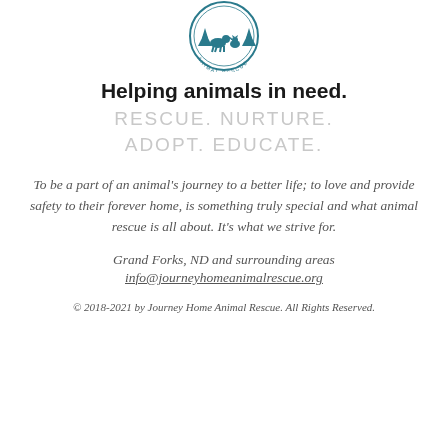[Figure (logo): Journey Home Animal Rescue circular logo with teal/blue coloring showing animals and trees]
Helping animals in need.
RESCUE.  NURTURE.  ADOPT.  EDUCATE.
To be a part of an animal's journey to a better life; to love and provide safety to their forever home, is something truly special and what animal rescue is all about.  It's what we strive for.
Grand Forks, ND and surrounding areas
info@journeyhomeanimalrescue.org
© 2018-2021 by Journey Home Animal Rescue. All Rights Reserved.